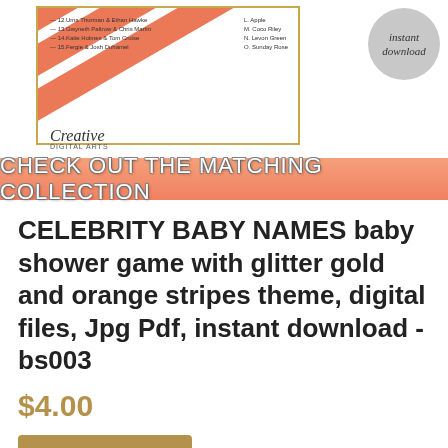[Figure (illustration): Product preview image showing a celebrity baby names baby shower game card with glitter gold and orange stripes theme, Creative Digital Arts logo, instant download badge, and a salmon-colored banner reading 'CHECK OUT THE MATCHING COLLECTION']
CELEBRITY BABY NAMES baby shower game with glitter gold and orange stripes theme, digital files, Jpg Pdf, instant download - bs003
$4.00
Add to Cart